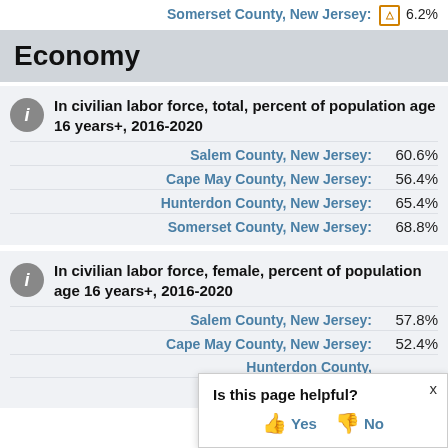Somerset County, New Jersey: ⚠ 6.2%
Economy
In civilian labor force, total, percent of population age 16 years+, 2016-2020
Salem County, New Jersey: 60.6%
Cape May County, New Jersey: 56.4%
Hunterdon County, New Jersey: 65.4%
Somerset County, New Jersey: 68.8%
In civilian labor force, female, percent of population age 16 years+, 2016-2020
Salem County, New Jersey: 57.8%
Cape May County, New Jersey: 52.4%
Hunterdon County, New Jersey: (partially visible)
Somerset County, New Jersey: (partially visible)
Is this page helpful? Yes / No